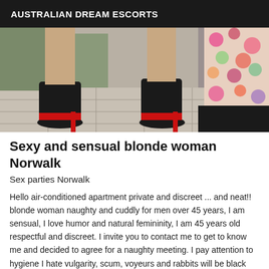AUSTRALIAN DREAM ESCORTS
[Figure (photo): Close-up photo of women's feet wearing black and red high heel stiletto shoes on a tiled floor, with a floral dress visible on the right side]
Sexy and sensual blonde woman Norwalk
Sex parties Norwalk
Hello air-conditioned apartment private and discreet ... and neat!! blonde woman naughty and cuddly for men over 45 years, I am sensual, I love humor and natural femininity, I am 45 years old respectful and discreet. I invite you to contact me to get to know me and decided to agree for a naughty meeting. I pay attention to hygiene I hate vulgarity, scum, voyeurs and rabbits will be black listed, I do not detail by SMS or MAIL, the information is only by calls with number displayed thank